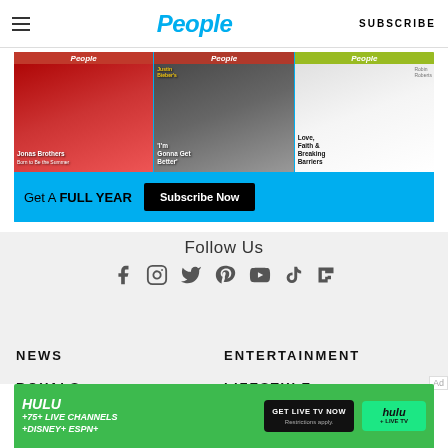People | SUBSCRIBE
[Figure (infographic): People magazine subscription ad banner with three magazine covers (Jonas Brothers, Justin Bieber 'I'm Gonna Get Better', Robin Roberts 'Love, Faith & Breaking Barriers') on a teal background. Text reads: Get A FULL YEAR — Subscribe Now button.]
Follow Us
[Figure (infographic): Social media icons row: Facebook, Instagram, Twitter, Pinterest, YouTube, TikTok, Flipboard]
NEWS
ENTERTAINMENT
ROYALS
LIFESTYLE
[Figure (infographic): Hulu advertisement banner: HULU + 75+ LIVE CHANNELS + DISNEY+ ESPN+. GET LIVE TV NOW button. Hulu + Live TV logo. Restrictions apply.]